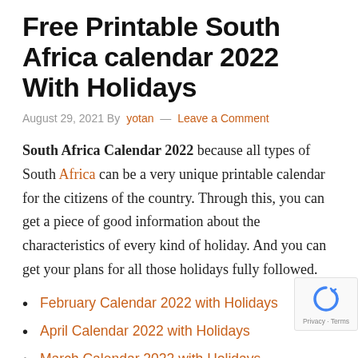Free Printable South Africa calendar 2022 With Holidays
August 29, 2021 By yotan — Leave a Comment
South Africa Calendar 2022 because all types of South Africa can be a very unique printable calendar for the citizens of the country. Through this, you can get a piece of good information about the characteristics of every kind of holiday. And you can get your plans for all those holidays fully followed.
February Calendar 2022 with Holidays
April Calendar 2022 with Holidays
March Calendar 2022 with Holidays
May Calendar 2022 with Holidays